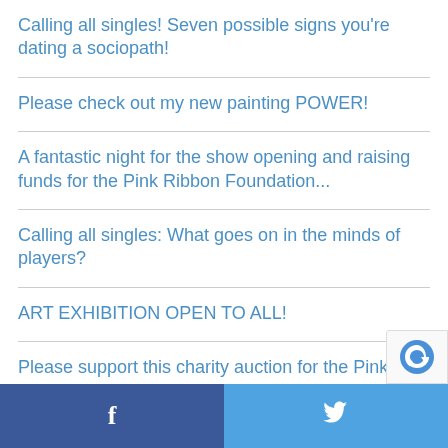Calling all singles! Seven possible signs you're dating a sociopath!
Please check out my new painting POWER!
A fantastic night for the show opening and raising funds for the Pink Ribbon Foundation...
Calling all singles: What goes on in the minds of players?
ART EXHIBITION OPEN TO ALL!
Please support this charity auction for the Pink Ribbon Foundation!
Facebook | Twitter